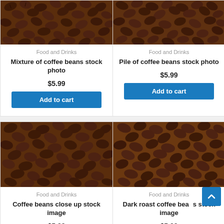[Figure (photo): Coffee beans close-up photo - top card left]
Food and Drinks
Mixture of coffee beans stock photo
$5.99
Add to cart
[Figure (photo): Coffee beans close-up photo - top card right]
Food and Drinks
Pile of coffee beans stock photo
$5.99
Add to cart
[Figure (photo): Coffee beans close-up photo - bottom card left]
Food and Drinks
Coffee beans close up stock image
$5.99
[Figure (photo): Dark roast coffee beans photo - bottom card right]
Food and Drinks
Dark roast coffee beans stock image
$5.99